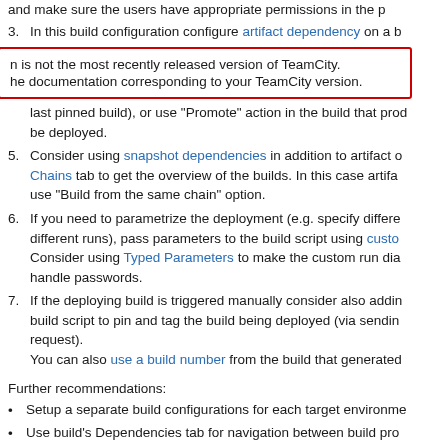and make sure the users have appropriate permissions in the build configuration and configure artifact dependency on a build configuration with the builds being deployed. (item continues)
In this build configuration configure artifact dependency on a b...
n is not the most recently released version of TeamCity. d co
he documentation corresponding to your TeamCity version. epl
last pinned build), or use "Promote" action in the build that produces the artifact to pin and/or tag the build to be deployed.
Consider using snapshot dependencies in addition to artifact or Chains tab to get the overview of the builds. In this case artifact use "Build from the same chain" option.
If you need to parametrize the deployment (e.g. specify differen different runs), pass parameters to the build script using custom Consider using Typed Parameters to make the custom run dial handle passwords.
If the deploying build is triggered manually consider also adding build script to pin and tag the build being deployed (via sending request).
You can also use a build number from the build that generated
Further recommendations:
Setup a separate build configurations for each target environme...
Use build's Dependencies tab for navigation between build pro... and deploying builds/tasks.